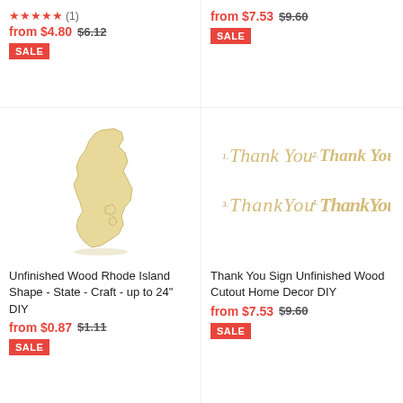★★★★★ (1)
from $4.80  $6.12
SALE
from $7.53  $9.60
SALE
[Figure (illustration): Unfinished wood Rhode Island state shape cutout]
[Figure (illustration): Thank You Sign wooden cutout showing 4 different script styles of Thank You text]
Unfinished Wood Rhode Island Shape - State - Craft - up to 24" DIY
from $0.87  $1.11
SALE
Thank You Sign Unfinished Wood Cutout Home Decor DIY
from $7.53  $9.60
SALE